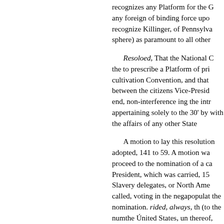recognizes any Platform for the G any foreign of binding force upo recognize Killinger, of Pennsylva sphere) as paramount to all other
Resoloed, That the National C the to prescribe a Platform of pri cultivation Convention, and that between the citizens Vice-Presid end, non-interference ing the intr appertaining solely to the 30' by with the affairs of any other State
A motion to lay this resolution adopted, 141 to 59. A motion wa proceed to the nomination of a ca President, which was carried, 15 Slavery delegates, or North Ame called, voting in the negapopulat the nomination. rided, always, th (to the numthe Únited States, un thereof, and who have a fixed re Constitution, or in the enactment State.